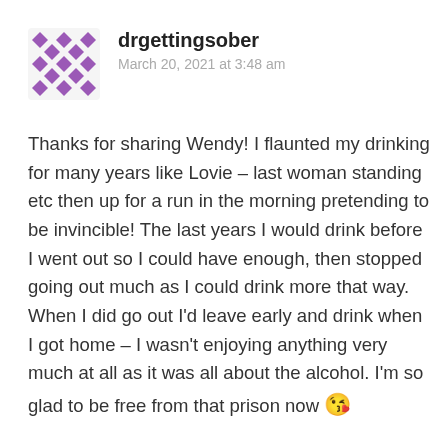[Figure (logo): Purple diamond/pixel pattern avatar icon for user drgettingsober]
drgettingsober
March 20, 2021 at 3:48 am
Thanks for sharing Wendy! I flaunted my drinking for many years like Lovie – last woman standing etc then up for a run in the morning pretending to be invincible! The last years I would drink before I went out so I could have enough, then stopped going out much as I could drink more that way. When I did go out I'd leave early and drink when I got home – I wasn't enjoying anything very much at all as it was all about the alcohol. I'm so glad to be free from that prison now 😘